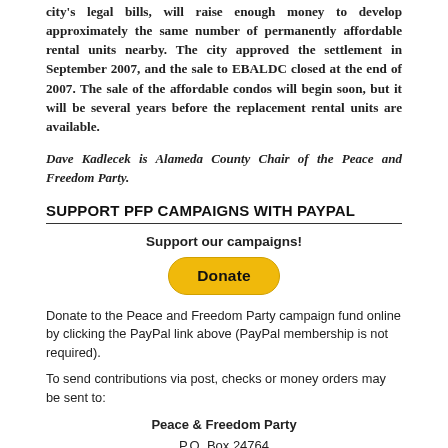city's legal bills, will raise enough money to develop approximately the same number of permanently affordable rental units nearby. The city approved the settlement in September 2007, and the sale to EBALDC closed at the end of 2007. The sale of the affordable condos will begin soon, but it will be several years before the replacement rental units are available.
Dave Kadlecek is Alameda County Chair of the Peace and Freedom Party.
SUPPORT PFP CAMPAIGNS WITH PAYPAL
Support our campaigns!
[Figure (other): Yellow PayPal Donate button]
Donate to the Peace and Freedom Party campaign fund online by clicking the PayPal link above (PayPal membership is not required).
To send contributions via post, checks or money orders may be sent to:
Peace & Freedom Party
P.O. Box 24764
Oakland, CA 94623
Click here for more on our fundraising campaign.